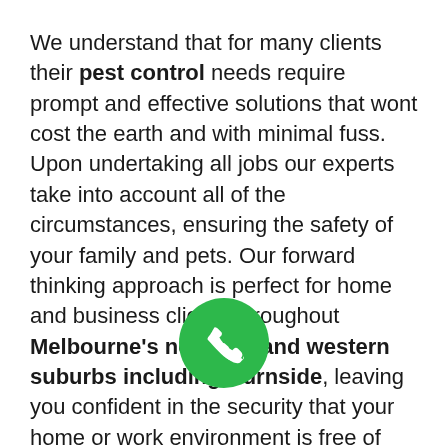We understand that for many clients their pest control needs require prompt and effective solutions that wont cost the earth and with minimal fuss. Upon undertaking all jobs our experts take into account all of the circumstances, ensuring the safety of your family and pets. Our forward thinking approach is perfect for home and business clients throughout Melbourne's northern and western suburbs including Burnside, leaving you confident in the security that your home or work environment is free of pests. Call us today for a free quote.
Whether it is at the home or the workplace, the team from Edwards Pest Control can access and manage your requirements, providing ongoing control and support. Using the most environmentally friendly techniques and materials possible we ensure complete solutions that will leave you breathing easy. Our services are available throughout Melbourne and Burnside, and are available to:
[Figure (other): Green circular phone/call button icon overlaid on the text]